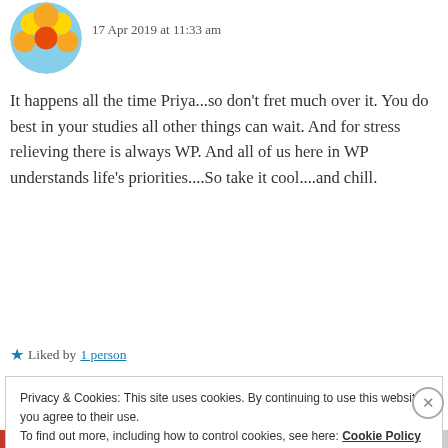[Figure (photo): Circular avatar image of a sunflower/gerbera daisy with orange and yellow petals against a blue sky background]
17 Apr 2019 at 11:33 am
It happens all the time Priya...so don't fret much over it. You do best in your studies all other things can wait. And for stress relieving there is always WP. And all of us here in WP understands life's priorities....So take it cool....and chill.
★ Liked by 1 person
REPLY
Privacy & Cookies: This site uses cookies. By continuing to use this website, you agree to their use. To find out more, including how to control cookies, see here: Cookie Policy
Close and accept